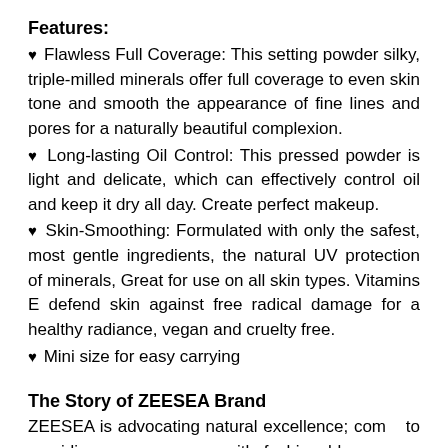Features:
♥ Flawless Full Coverage: This setting powder silky, triple-milled minerals offer full coverage to even skin tone and smooth the appearance of fine lines and pores for a naturally beautiful complexion.
♥ Long-lasting Oil Control: This pressed powder is light and delicate, which can effectively control oil and keep it dry all day. Create perfect makeup.
♥ Skin-Smoothing: Formulated with only the safest, most gentle ingredients, the natural UV protection of minerals, Great for use on all skin types. Vitamins E defend skin against free radical damage for a healthy radiance, vegan and cruelty free.
♥ Mini size for easy carrying
The Story of ZEESEA Brand
ZEESEA is advocating natural excellence; committed to providing young women with fashionable, cutting-edge, and artistic high-quality makeup products, calling on them to experience and create a colorful